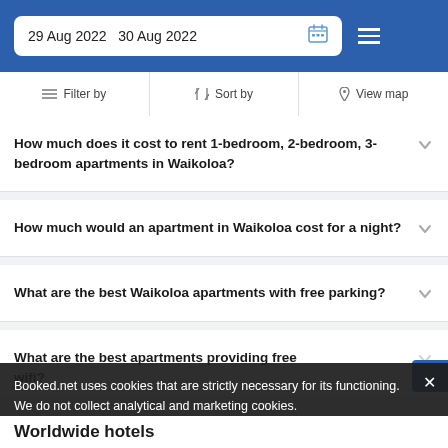29 Aug 2022  30 Aug 2022
Filter by  Sort by  View map
How much does it cost to rent 1-bedroom, 2-bedroom, 3-bedroom apartments in Waikoloa?
How much would an apartment in Waikoloa cost for a night?
What are the best Waikoloa apartments with free parking?
What are the best apartments providing free wifi?
Booked.net uses cookies that are strictly necessary for its functioning. We do not collect analytical and marketing cookies.
Worldwide hotels